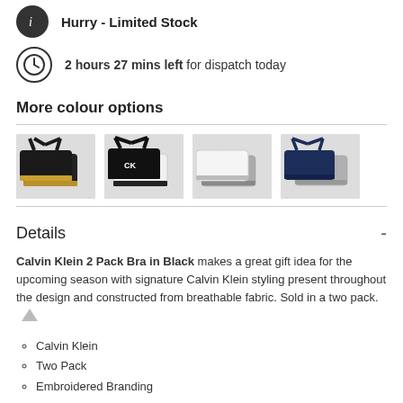Hurry - Limited Stock
2 hours 27 mins left for dispatch today
More colour options
[Figure (photo): Four product options showing pairs of Calvin Klein bras in different colours: black/gold, black/white, white/grey, navy/grey.]
Details
Calvin Klein 2 Pack Bra in Black makes a great gift idea for the upcoming season with signature Calvin Klein styling present throughout the design and constructed from breathable fabric. Sold in a two pack.
Calvin Klein
Two Pack
Embroidered Branding